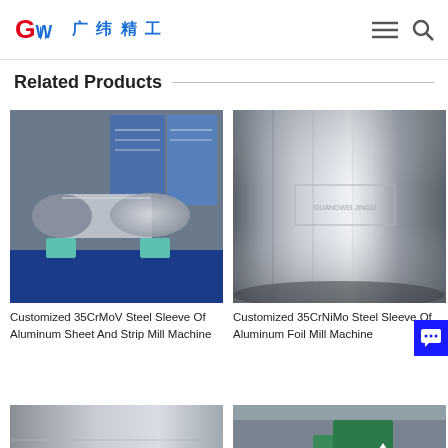广纬精工 (GW logo) — navigation header with menu and search icons
Related Products
[Figure (photo): Customized 35CrMoV steel sleeve cylinder displayed on blue foam supports at an exhibition, with product posters in background]
Customized 35CrMoV Steel Sleeve Of Aluminum Sheet And Strip Mill Machine
[Figure (photo): Customized 35CrNiMo polished steel sleeve for aluminum foil mill machine, close-up showing embossed label]
Customized 35CrNiMo Steel Sleeve Of Aluminum Foil Mill Machine
[Figure (photo): Partial view of another steel sleeve product (bottom, cropped)]
[Figure (photo): Partial view of industrial machine in factory (bottom, cropped) with upload/scroll-to-top arrow icon]